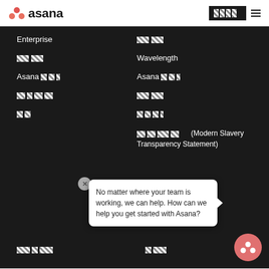[Figure (logo): Asana logo with coral/red dots and wordmark]
Enterprise
[redacted] [redacted]
[redacted] [redacted]
Wavelength
Asana [redacted]
Asana [redacted]
[redacted] [redacted] [redacted]
[redacted] [redacted]
[redacted]
[redacted]
[redacted] [redacted] [redacted] [redacted](Modern Slavery Transparency Statement)
No matter where your team is working, we can help. How can we help you get started with Asana?
[redacted] [redacted]
[redacted] [redacted]